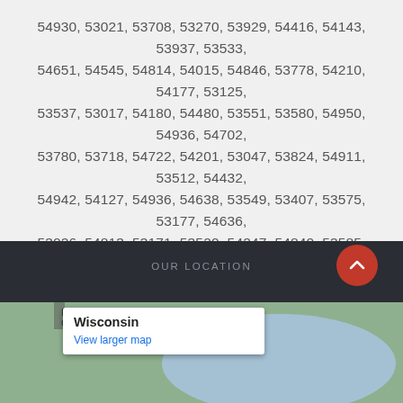54930, 53021, 53708, 53270, 53929, 54416, 54143, 53937, 53533, 54651, 54545, 54814, 54015, 54846, 53778, 54210, 54177, 53125, 53537, 53017, 54180, 54480, 53551, 53580, 54950, 54936, 54702, 53780, 53718, 54722, 54201, 53047, 53824, 54911, 53512, 54432, 54942, 54127, 54936, 54638, 53549, 53407, 53575, 53177, 54636, 53026, 54813, 53171, 53520, 54247, 54840, 53585, 54742, 54750, 53130, 53072, 54542, 54870, 53213, 53094, 54826, 53599, 53268, 53812, 54757, 54427, 54969, 54623, 53221, 53816, 53014, 54769, 54847, 53065, 53510, 53931, 53939
OUR LOCATION
[Figure (map): Map showing Wisconsin location with a popup label reading 'Wisconsin' and 'View larger map' link. A red scroll-to-top button is visible in the upper right of the dark section.]